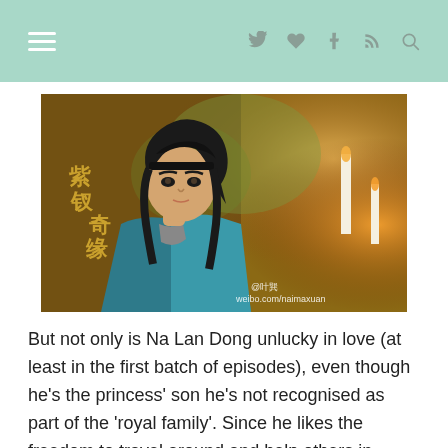navigation header with hamburger menu and social icons
[Figure (photo): A young Asian man in historical Chinese costume wearing a teal/blue robe and black hair tied up with a headband, with candles and decorations in the background. Chinese drama promotional still with watermark text '@叶巽 weibo.com/naimaxuan' and Chinese title text in golden characters.]
But not only is Na Lan Dong unlucky in love (at least in the first batch of episodes), even though he's the princess' son he's not recognised as part of the 'royal family'. Since he likes the freedom to travel around and help others in need, Na Lan Dong doesn't want any titles. If he wanted to become a government official, he could easily gain a position based on family connections. However, he chooses to live a